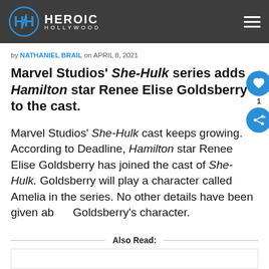Heroic Hollywood
by NATHANIEL BRAIL on APRIL 8, 2021
Marvel Studios' She-Hulk series adds Hamilton star Renee Elise Goldsberry to the cast.
Marvel Studios' She-Hulk cast keeps growing. According to Deadline, Hamilton star Renee Elise Goldsberry has joined the cast of She-Hulk. Goldsberry will play a character called Amelia in the series. No other details have been given about Goldsberry's character.
Also Read: